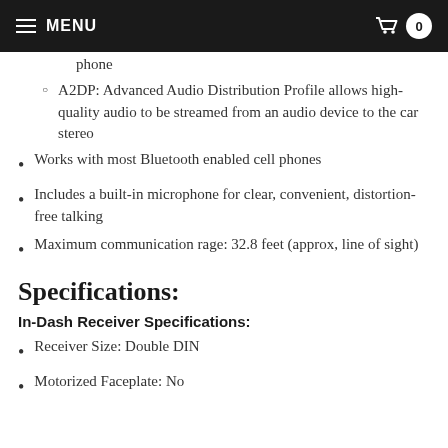MENU  0
phone
A2DP: Advanced Audio Distribution Profile allows high-quality audio to be streamed from an audio device to the car stereo
Works with most Bluetooth enabled cell phones
Includes a built-in microphone for clear, convenient, distortion-free talking
Maximum communication rage: 32.8 feet (approx, line of sight)
Specifications:
In-Dash Receiver Specifications:
Receiver Size: Double DIN
Motorized Faceplate: No